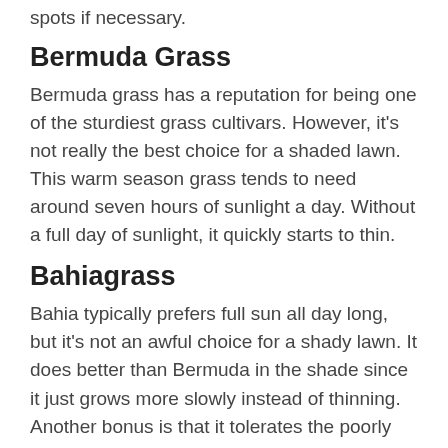spots if necessary.
Bermuda Grass
Bermuda grass has a reputation for being one of the sturdiest grass cultivars. However, it's not really the best choice for a shaded lawn. This warm season grass tends to need around seven hours of sunlight a day. Without a full day of sunlight, it quickly starts to thin.
Bahiagrass
Bahia typically prefers full sun all day long, but it's not an awful choice for a shady lawn. It does better than Bermuda in the shade since it just grows more slowly instead of thinning. Another bonus is that it tolerates the poorly drained soils common in shady spots.
Centipede Grass